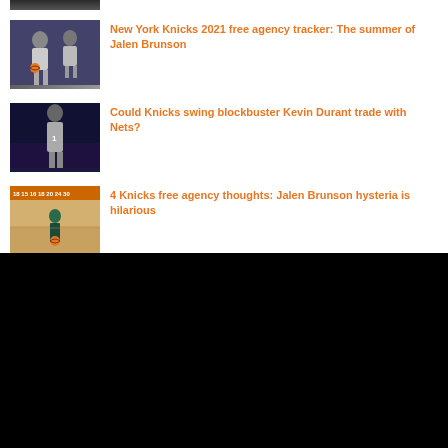[Figure (photo): Basketball player photo (partial, top crop)]
[Figure (photo): Two basketball players on court, Knicks related]
New York Knicks 2021 free agency tracker: The summer of Jalen Brunson
[Figure (photo): Kevin Durant basketball player in dark uniform]
Could Knicks swing blockbuster Kevin Durant trade with Nets?
[Figure (photo): Coach standing on basketball court with scoreboard numbers visible]
4 Knicks free agency thoughts: Jalen Brunson hysteria is hilarious